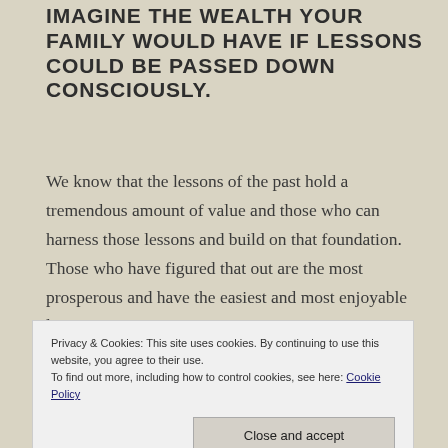IMAGINE THE WEALTH YOUR FAMILY WOULD HAVE IF LESSONS COULD BE PASSED DOWN CONSCIOUSLY.
We know that the lessons of the past hold a tremendous amount of value and those who can harness those lessons and build on that foundation. Those who have figured that out are the most prosperous and have the easiest and most enjoyable lives.
Because we want this for your family too, we use
Privacy & Cookies: This site uses cookies. By continuing to use this website, you agree to their use.
To find out more, including how to control cookies, see here: Cookie Policy
[Close and accept]
If this interests you, please ask us more about it